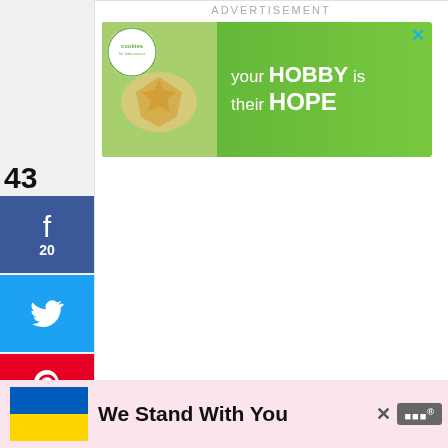ADVERTISEMENT
[Figure (screenshot): Advertisement banner for Cookies for Kids Cancer: 'your HOBBY is their HOPE' with green background, cookie logo, and child's hands holding heart-shaped cookie]
43
SHARES
[Figure (screenshot): Social share buttons: Facebook (20), Twitter, Pinterest (23), Email, Yummly, Print]
[Figure (infographic): Heart icon button with count 54, and a share/plus icon button]
[Figure (screenshot): WHAT'S NEXT -> Greek Sausage... thumbnail]
[Figure (screenshot): Bottom banner: Ukraine flag, 'We Stand With You' text, close X, and logo]